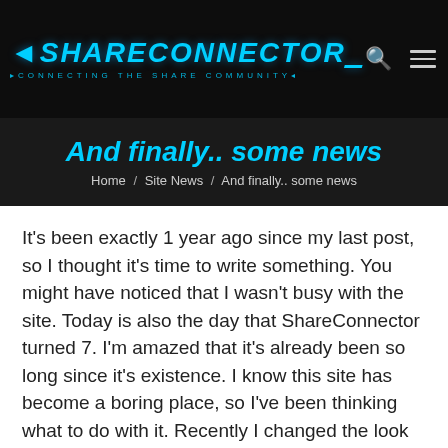ShareConnector — Connecting the Share Community
And finally.. some news
Home / Site News / And finally.. some news
It's been exactly 1 year ago since my last post, so I thought it's time to write something. You might have noticed that I wasn't busy with the site. Today is also the day that ShareConnector turned 7. I'm amazed that it's already been so long since it's existence. I know this site has become a boring place, so I've been thinking what to do with it. Recently I changed the look and feel but I can't say it's 100% finished yet, so I'll tweak some things here and there. Anyway, the idea is to make ShareConnector an useful and helpful